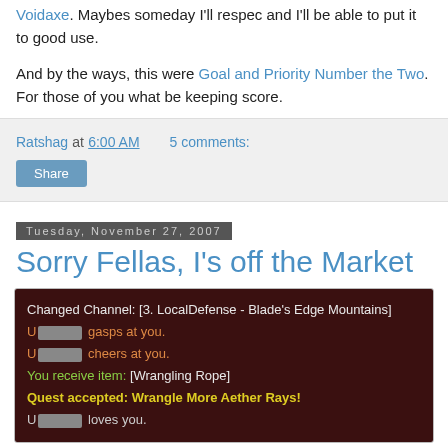Voidaxe. Maybes someday I'll respec and I'll be able to put it to good use.
And by the ways, this were Goal and Priority Number the Two. For those of you what be keeping score.
Ratshag at 6:00 AM    5 comments:
Share
Tuesday, November 27, 2007
Sorry Fellas, I's off the Market
[Figure (screenshot): Game screenshot showing chat log: 'Changed Channel: [3. LocalDefense - Blade's Edge Mountains]', 'U[name] gasps at you.', 'U[name] cheers at you.', 'You receive item: [Wrangling Rope]', 'Quest accepted: Wrangle More Aether Rays!', 'U[name] loves you.']
The other day I's at the Skyguard base outside Ogri'la,